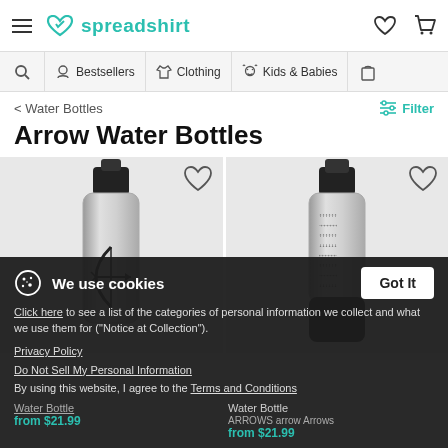spreadshirt — header with hamburger menu, logo, wishlist and cart icons
Bestsellers | Clothing | Kids & Babies — navigation bar
< Water Bottles
Filter
Arrow Water Bottles
[Figure (photo): Two silver water bottles with black caps and black arrow designs on grey background]
We use cookies — Got It button
Click here to see a list of the categories of personal information we collect and what we use them for ("Notice at Collection").
Privacy Policy
Do Not Sell My Personal Information
By using this website, I agree to the Terms and Conditions
Water Bottle — ARROWS arrow Arrows — from $21.99
from $21.99